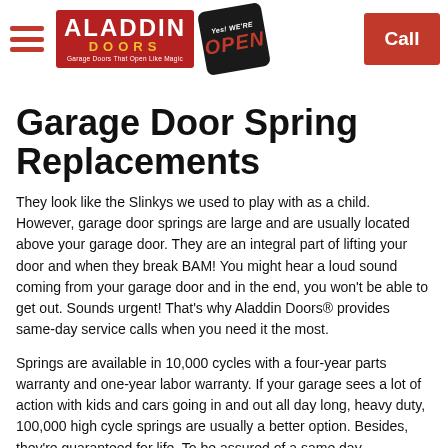[Figure (logo): Aladdin Doors logo on red background with text 'Garage Doors That Open Like Magic']
[Figure (other): Yes We're Open sign, black background with red OPEN text, tilted]
[Figure (other): Red Call button in top right corner]
Garage Door Spring Replacements
They look like the Slinkys we used to play with as a child. However, garage door springs are large and are usually located above your garage door. They are an integral part of lifting your door and when they break BAM! You might hear a loud sound coming from your garage door and in the end, you won't be able to get out. Sounds urgent! That's why Aladdin Doors® provides same-day service calls when you need it the most.
Springs are available in 10,000 cycles with a four-year parts warranty and one-year labor warranty. If your garage sees a lot of action with kids and cars going in and out all day long, heavy duty, 100,000 high cycle springs are usually a better option. Besides, they're guaranteed for life. To be assured of a same day...